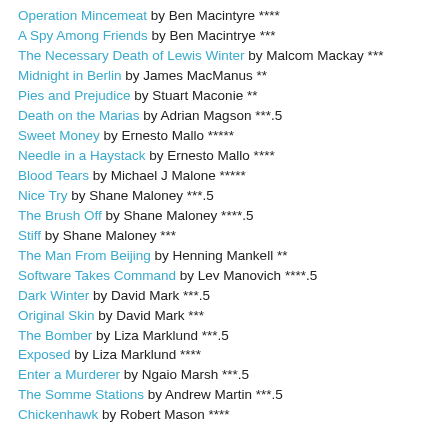Operation Mincemeat by Ben Macintyre ****
A Spy Among Friends by Ben Macintrye ***
The Necessary Death of Lewis Winter by Malcom Mackay ***
Midnight in Berlin by James MacManus **
Pies and Prejudice by Stuart Maconie **
Death on the Marias by Adrian Magson ***.5
Sweet Money by Ernesto Mallo *****
Needle in a Haystack by Ernesto Mallo ****
Blood Tears by Michael J Malone *****
Nice Try by Shane Maloney ***.5
The Brush Off by Shane Maloney ****.5
Stiff by Shane Maloney ***
The Man From Beijing by Henning Mankell **
Software Takes Command by Lev Manovich ****.5
Dark Winter by David Mark ***.5
Original Skin by David Mark ***
The Bomber by Liza Marklund ***.5
Exposed by Liza Marklund ****
Enter a Murderer by Ngaio Marsh ***.5
The Somme Stations by Andrew Martin ***.5
Chickenhawk by Robert Mason ****